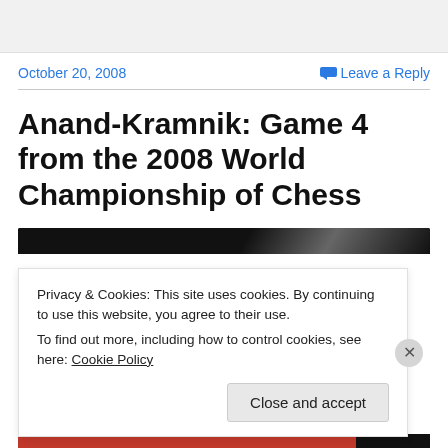October 20, 2008
Leave a Reply
Anand-Kramnik: Game 4 from the 2008 World Championship of Chess
[Figure (photo): Dark image strip from a chess game video or photo]
Privacy & Cookies: This site uses cookies. By continuing to use this website, you agree to their use.
To find out more, including how to control cookies, see here: Cookie Policy
Close and accept